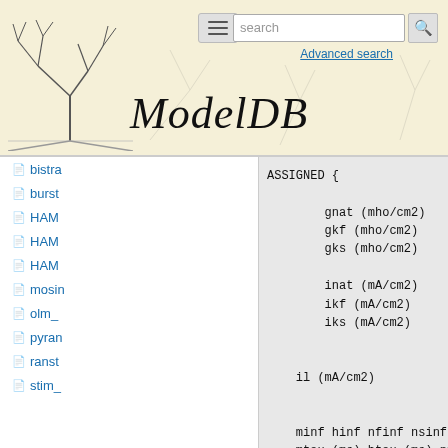ModelDB — website header with logo, navigation menu, search bar, and Advanced search link
bistra
burst
HAM
HAM
HAM
mosin
olm_
pyran
ranst
stim_
ASSIGNED {

        gnat (mho/cm2)
        gkf (mho/cm2)
        gks (mho/cm2)

        inat (mA/cm2)
        ikf (mA/cm2)
        iks (mA/cm2)


    il (mA/cm2)


    minf hinf nfinf nsinf
    mtau (ms) htau (ms) nftau (ms) ns
tau (ms)
    mexp hexp nfexp nsexp
}